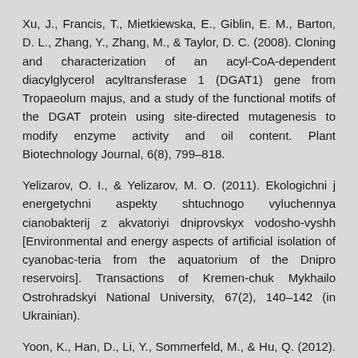Xu, J., Francis, T., Mietkiewska, E., Giblin, E. M., Barton, D. L., Zhang, Y., Zhang, M., & Taylor, D. C. (2008). Cloning and characterization of an acyl-CoA-dependent diacylglycerol acyltransferase 1 (DGAT1) gene from Tropaeolum majus, and a study of the functional motifs of the DGAT protein using site-directed mutagenesis to modify enzyme activity and oil content. Plant Biotechnology Journal, 6(8), 799–818.
Yelizarov, O. I., & Yelizarov, M. O. (2011). Ekologichni j energetychni aspekty shtuchnogo vyluchennya cianobakterij z akvatoriyi dniprovskyx vodosho-vyshh [Environmental and energy aspects of artificial isolation of cyanobac-teria from the aquatorium of the Dnipro reservoirs]. Transactions of Kremen-chuk Mykhailo Ostrohradskyi National University, 67(2), 140–142 (in Ukrainian).
Yoon, K., Han, D., Li, Y., Sommerfeld, M., & Hu, Q. (2012). Phospholipid: Diacylglycerol acyltransferase is a...